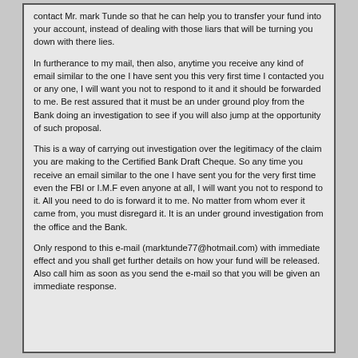contact Mr. mark Tunde so that he can help you to transfer your fund into your account, instead of dealing with those liars that will be turning you down with there lies.
In furtherance to my mail, then also, anytime you receive any kind of email similar to the one I have sent you this very first time I contacted you or any one, I will want you not to respond to it and it should be forwarded to me. Be rest assured that it must be an under ground ploy from the Bank doing an investigation to see if you will also jump at the opportunity of such proposal.
This is a way of carrying out investigation over the legitimacy of the claim you are making to the Certified Bank Draft Cheque. So any time you receive an email similar to the one I have sent you for the very first time even the FBI or I.M.F even anyone at all, I will want you not to respond to it. All you need to do is forward it to me. No matter from whom ever it came from, you must disregard it. It is an under ground investigation from the office and the Bank.
Only respond to this e-mail (marktunde77@hotmail.com) with immediate effect and you shall get further details on how your fund will be released. Also call him as soon as you send the e-mail so that you will be given an immediate response.